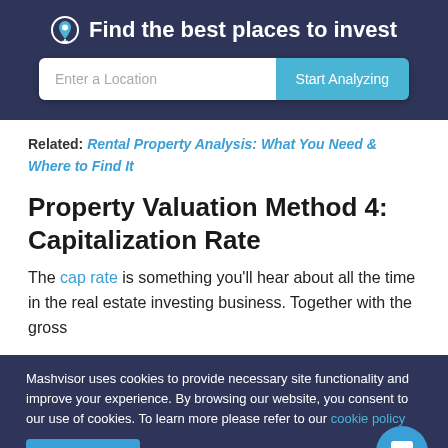Find the best places to invest
[Figure (screenshot): Search bar with 'Enter a Location' placeholder and 'Start Analyzing' button]
Related: Rental Property Analysis: What You Need & Where to Find It
Property Valuation Method 4: Capitalization Rate
The cap rate is something you'll hear about all the time in the real estate investing business. Together with the gross
Mashvisor uses cookies to provide necessary site functionality and improve your experience. By browsing our website, you consent to our use of cookies. To learn more please refer to our cookie policy
Accept | Reject